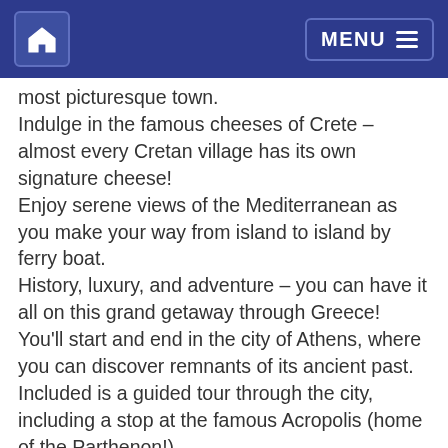Home | MENU
most picturesque town.
Indulge in the famous cheeses of Crete – almost every Cretan village has its own signature cheese!
Enjoy serene views of the Mediterranean as you make your way from island to island by ferry boat.
History, luxury, and adventure – you can have it all on this grand getaway through Greece! You'll start and end in the city of Athens, where you can discover remnants of its ancient past. Included is a guided tour through the city, including a stop at the famous Acropolis (home of the Parthenon!).
From there the picturesque island of Mykonos awaits. Delight in the picturesque sandy beaches, bright blue